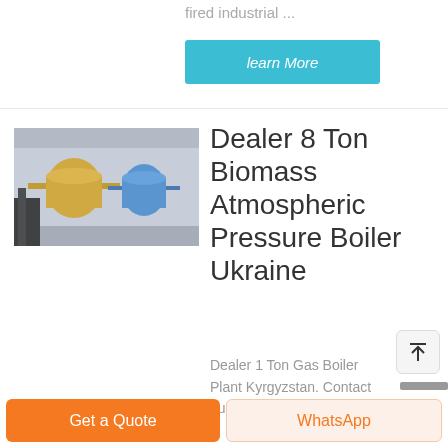fired industrial ...
learn More
[Figure (photo): Industrial boiler facility with yellow equipment and blue tanks in background]
Dealer 8 Ton Biomass Atmospheric Pressure Boiler Ukraine
Dealer 1 Ton Gas Boiler Plant Kyrgyzstan. Contact number: 0086-371-
Get a Quote
WhatsApp